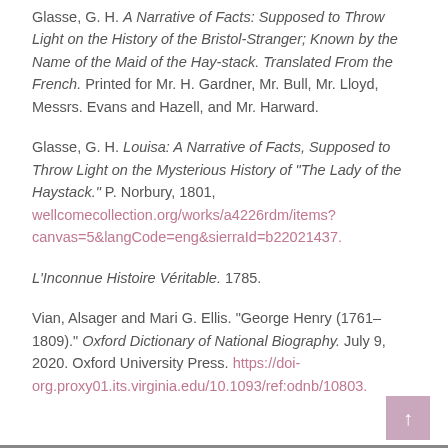Glasse, G. H. A Narrative of Facts: Supposed to Throw Light on the History of the Bristol-Stranger; Known by the Name of the Maid of the Hay-stack. Translated From the French. Printed for Mr. H. Gardner, Mr. Bull, Mr. Lloyd, Messrs. Evans and Hazell, and Mr. Harward.
Glasse, G. H. Louisa: A Narrative of Facts, Supposed to Throw Light on the Mysterious History of "The Lady of the Haystack." P. Norbury, 1801, wellcomecollection.org/works/a4226rdm/items?canvas=5&langCode=eng&sierraId=b22021437.
L'Inconnue Histoire Véritable. 1785.
Vian, Alsager and Mari G. Ellis. "George Henry (1761–1809)." Oxford Dictionary of National Biography. July 9, 2020. Oxford University Press. https://doi-org.proxy01.its.virginia.edu/10.1093/ref:odnb/10803.